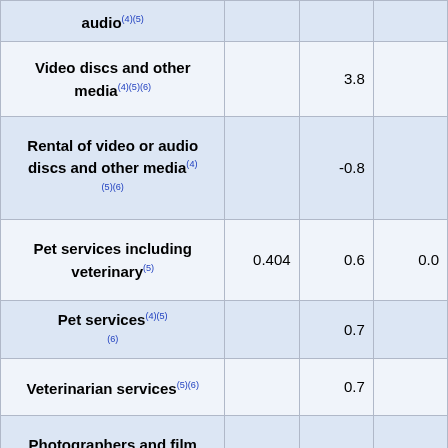| Item | Col1 | Col2 | Col3 |
| --- | --- | --- | --- |
| audio(4)(5) |  |  |  |
| Video discs and other media(4)(5)(6) |  | 3.8 |  |
| Rental of video or audio discs and other media(4)(5)(6) |  | -0.8 |  |
| Pet services including veterinary(5) | 0.404 | 0.6 | 0.0 |
| Pet services(4)(5)(6) |  | 0.7 |  |
| Veterinarian services(5)(6) |  | 0.7 |  |
| Photographers and film processing(4)(5) | 0.060 | -0.5 | 0.0 |
| Photographer |  | -0.6 |  |